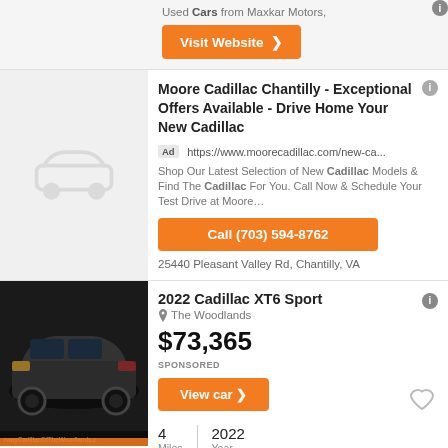Used Cars from Maxkar Motors,
Visit Website ❯
Moore Cadillac Chantilly - Exceptional Offers Available - Drive Home Your New Cadillac
Ad https://www.moorecadillac.com/new-ca...
Shop Our Latest Selection of New Cadillac Models & Find The Cadillac For You. Call Now & Schedule Your Test Drive at Moore…
Call (703) 594-8762
25440 Pleasant Valley Rd, Chantilly, VA
2022 Cadillac XT6 Sport
The Woodlands
$73,365
SPONSORED
View car ❯
4 Miles | 2022 Year
Used 2007 Cadillac Escalade AWD